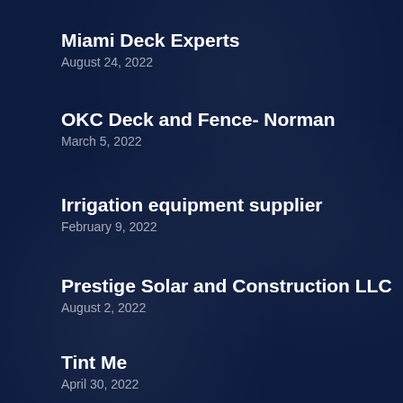Miami Deck Experts
August 24, 2022
OKC Deck and Fence- Norman
March 5, 2022
Irrigation equipment supplier
February 9, 2022
Prestige Solar and Construction LLC
August 2, 2022
Tint Me
April 30, 2022